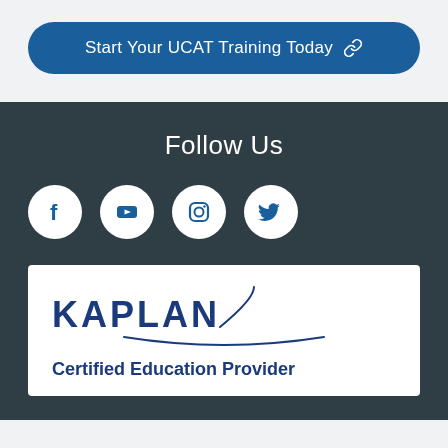[Figure (other): Blue rounded button with text 'Start Your UCAT Training Today' and a link icon]
Follow Us
[Figure (other): Four social media icons in white circles: Facebook, YouTube, Instagram, Twitter]
[Figure (logo): Kaplan Certified Education Provider logo — KAPLAN text in dark blue with arc underline, and 'Certified Education Provider' subtitle]